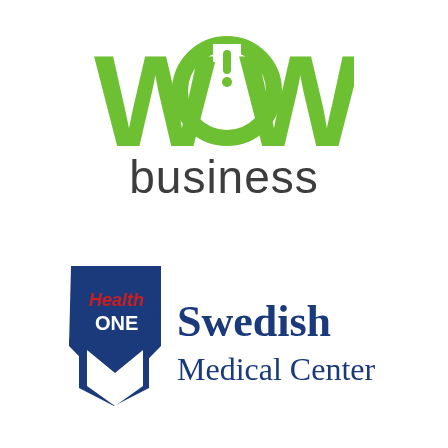[Figure (logo): WOW Business logo: stylized green letters W-O-W where the O contains a power button icon with an exclamation mark, below in dark gray sans-serif text 'business']
[Figure (logo): HealthONE Swedish Medical Center logo: blue arrow/chevron shape with 'Health' in red and 'ONE' in white on blue, followed by 'Swedish Medical Center' in navy blue serif text]